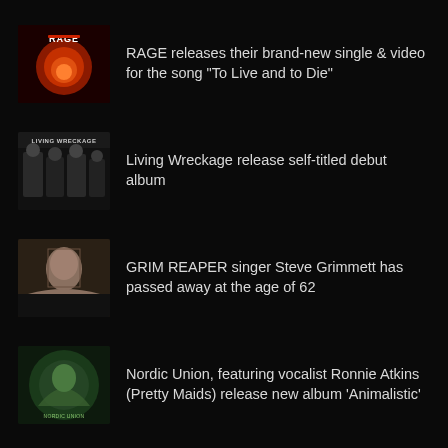RAGE releases their brand-new single & video for the song "To Live and to Die"
Living Wreckage release self-titled debut album
GRIM REAPER singer Steve Grimmett has passed away at the age of 62
Nordic Union, featuring vocalist Ronnie Atkins (Pretty Maids) release new album 'Animalistic'